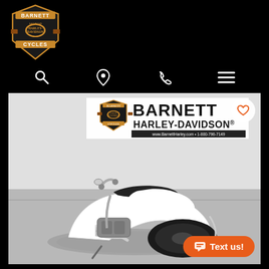[Figure (logo): Barnett Motor Harley-Davidson Cycles logo — shield shape with orange and brown colors]
[Figure (photo): Navigation bar with search, location pin, phone, and menu (hamburger) icons on black background]
[Figure (photo): Photograph of a white and black Harley-Davidson V-Rod motorcycle from the rear three-quarter angle, displayed in a showroom with Barnett Harley-Davidson dealership signage in the background. A heart/favorite button is in the top-right corner of the photo, and a 'Text us!' orange button is in the bottom-right.]